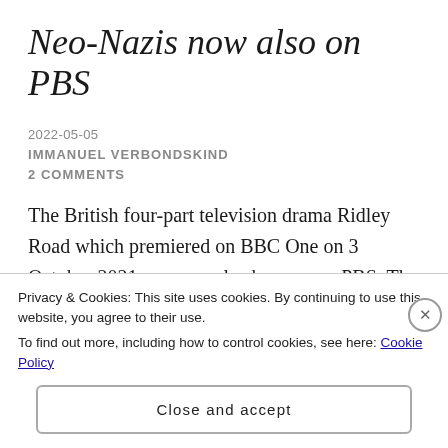Neo-Nazis now also on PBS
2022-05-05
IMMANUEL VERBONDSKIND
2 COMMENTS
The British four-part television drama Ridley Road which premiered on BBC One on 3 October 2021 can now also be seen on PBS. The mini-series Ridley Road is set in the East End of London in the early 1960s and follows the story of a Jewish woman who
Privacy & Cookies: This site uses cookies. By continuing to use this website, you agree to their use.
To find out more, including how to control cookies, see here: Cookie Policy
Close and accept